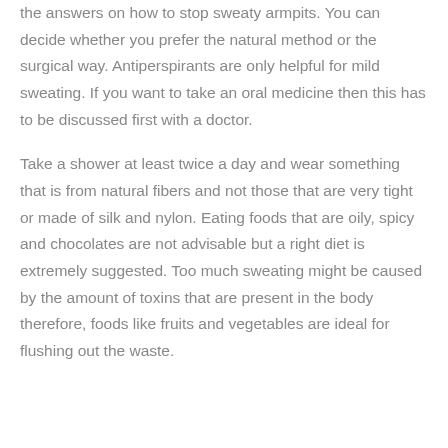the answers on how to stop sweaty armpits. You can decide whether you prefer the natural method or the surgical way. Antiperspirants are only helpful for mild sweating. If you want to take an oral medicine then this has to be discussed first with a doctor.
Take a shower at least twice a day and wear something that is from natural fibers and not those that are very tight or made of silk and nylon. Eating foods that are oily, spicy and chocolates are not advisable but a right diet is extremely suggested. Too much sweating might be caused by the amount of toxins that are present in the body therefore, foods like fruits and vegetables are ideal for flushing out the waste.